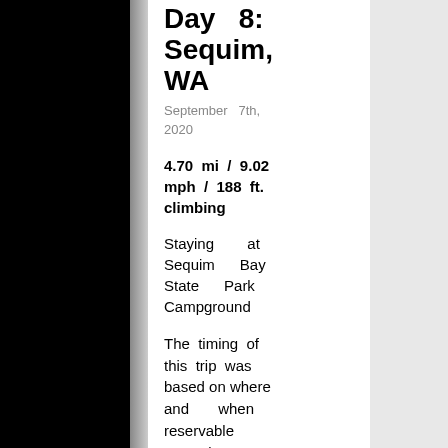Day 8: Sequim, WA
September 7th, 2020
4.70 mi / 9.02 mph / 188 ft. climbing
Staying at Sequim Bay State Park Campground
The timing of this trip was based on where and when reservable campsites were available, and holiday weekend campsites are real hard to come by in one of the rainiest areas of the